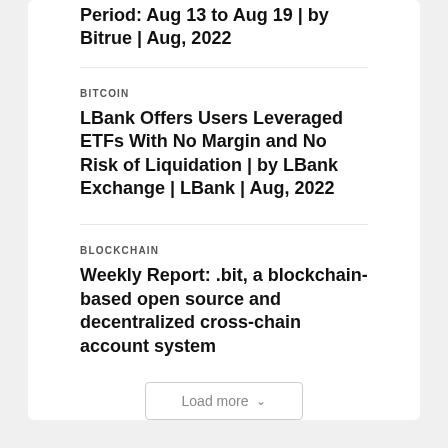Period: Aug 13 to Aug 19 | by Bitrue | Aug, 2022
BITCOIN
LBank Offers Users Leveraged ETFs With No Margin and No Risk of Liquidation | by LBank Exchange | LBank | Aug, 2022
BLOCKCHAIN
Weekly Report: .bit, a blockchain-based open source and decentralized cross-chain account system
Load more